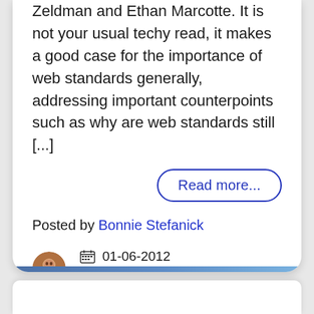Zeldman and Ethan Marcotte. It is not your usual techy read, it makes a good case for the importance of web standards generally, addressing important counterpoints such as why are web standards still [...]
Read more...
Posted by Bonnie Stefanick
01-06-2012
Search Engine Optimization, .Tips and Tricks, Website Usability
[Figure (illustration): Social media share icons: Facebook, Twitter, LinkedIn]